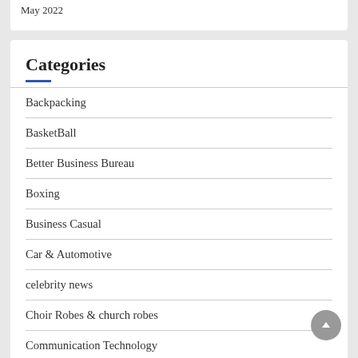May 2022
Categories
Backpacking
BasketBall
Better Business Bureau
Boxing
Business Casual
Car & Automotive
celebrity news
Choir Robes & church robes
Communication Technology